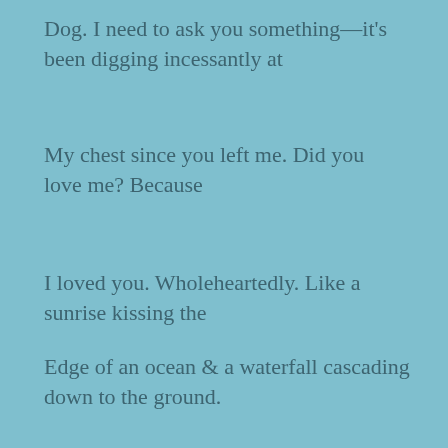Dog. I need to ask you something—it's been digging incessantly at
My chest since you left me. Did you love me? Because
I loved you. Wholeheartedly. Like a sunrise kissing the
Edge of an ocean & a waterfall cascading down to the ground.